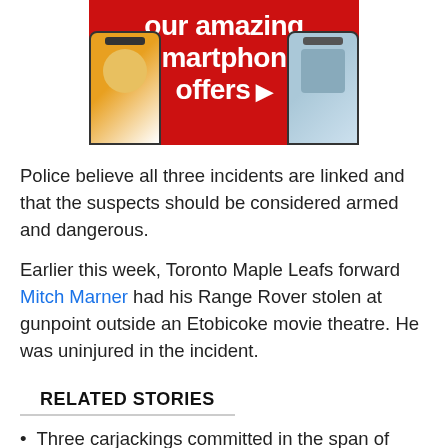[Figure (photo): Advertisement banner with red background showing text 'our amazing smartphone offers' with arrow, and Samsung Galaxy phones on left and right sides]
Police believe all three incidents are linked and that the suspects should be considered armed and dangerous.
Earlier this week, Toronto Maple Leafs forward Mitch Marner had his Range Rover stolen at gunpoint outside an Etobicoke movie theatre. He was uninjured in the incident.
RELATED STORIES
Three carjackings committed in the span of